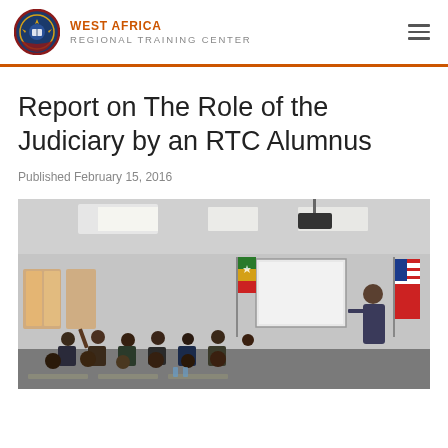WEST AFRICA REGIONAL TRAINING CENTER
Report on The Role of the Judiciary by an RTC Alumnus
Published February 15, 2016
[Figure (photo): A classroom training session with many attendees seated at desks facing a presenter at the front, with a projection screen, flags including Ghana and USA, and fluorescent lighting in a modern conference room.]